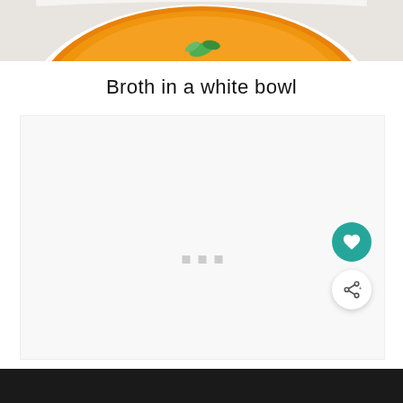[Figure (photo): Top portion of a white bowl containing orange broth/soup with green herb garnish, photographed from above on a light background]
Broth in a white bowl
[Figure (other): Light gray content placeholder area with three small gray square dots near the top center, and two floating action buttons at the bottom right: a teal heart/love button and a white share button with share icon]
[Figure (other): Black footer bar at the bottom of the page]